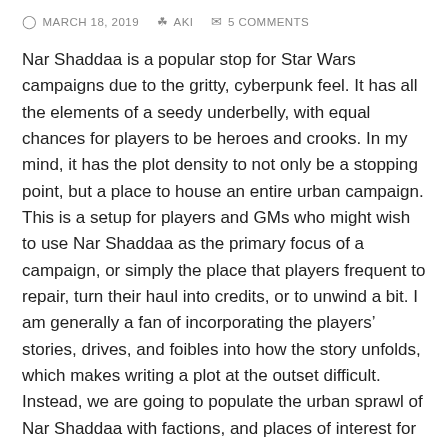MARCH 18, 2019   AKI   5 COMMENTS
Nar Shaddaa is a popular stop for Star Wars campaigns due to the gritty, cyberpunk feel. It has all the elements of a seedy underbelly, with equal chances for players to be heroes and crooks. In my mind, it has the plot density to not only be a stopping point, but a place to house an entire urban campaign. This is a setup for players and GMs who might wish to use Nar Shaddaa as the primary focus of a campaign, or simply the place that players frequent to repair, turn their haul into credits, or to unwind a bit. I am generally a fan of incorporating the players' stories, drives, and foibles into how the story unfolds, which makes writing a plot at the outset difficult. Instead, we are going to populate the urban sprawl of Nar Shaddaa with factions, and places of interest for our players to run into. The factions have primary drives, which is to say, what